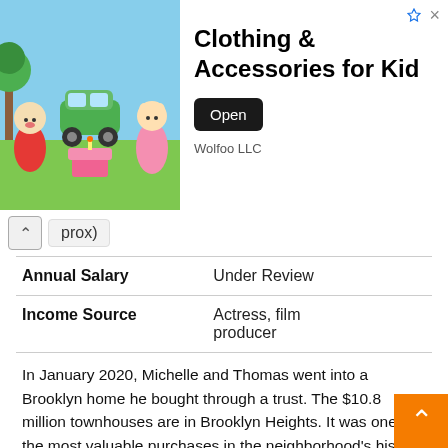[Figure (illustration): Ad banner with cartoon animal characters (Wolfoo LLC) on a blue/green background, with text 'Clothing & Accessories for Kid', an Open button, and Wolfoo LLC label.]
prox)
| Annual Salary | Under Review |
| Income Source | Actress, film producer |
In January 2020, Michelle and Thomas went into a Brooklyn home he bought through a trust. The $10.8 million townhouses are in Brooklyn Heights. It was one of the most valuable purchases in the neighborhood's history. Michelle is a former Brooklyn homeowner. In 2015 she sold her longtime townhouse for $8.8 million. She still maintains another home in Brooklyn which was bought in 2015 for $2.5 million.